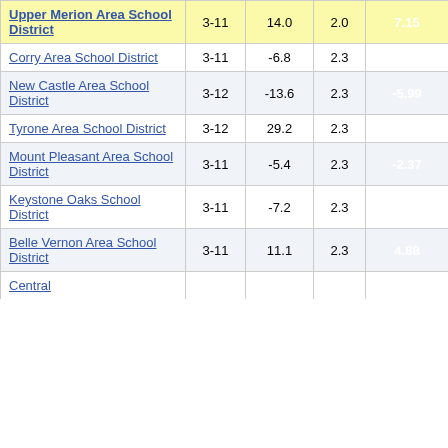| School District | Grades | Col3 | Col4 | Score |
| --- | --- | --- | --- | --- |
| Upper Merion Area School District | 3-11 | 14.0 | 2.0 | 7.15 |
| Corry Area School District | 3-11 | -6.8 | 2.3 | -3.01 |
| New Castle Area School District | 3-12 | -13.6 | 2.3 | -5.99 |
| Tyrone Area School District | 3-12 | 29.2 | 2.3 | 12.86 |
| Mount Pleasant Area School District | 3-11 | -5.4 | 2.3 | -2.37 |
| Keystone Oaks School District | 3-11 | -7.2 | 2.3 | -3.14 |
| Belle Vernon Area School District | 3-11 | 11.1 | 2.3 | 4.88 |
| Central... |  |  |  |  |